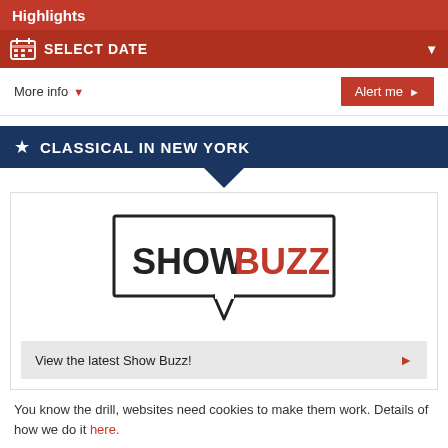Highlights
SELECT DATE
More info
Alert me
CLASSICAL IN NEW YORK
[Figure (logo): ShowBuzz logo — speech bubble with 'SHOW' in black and 'BUZZ' in red]
View the latest Show Buzz!
You know the drill, websites need cookies to make them work. Details of how we do it here.
Got it!